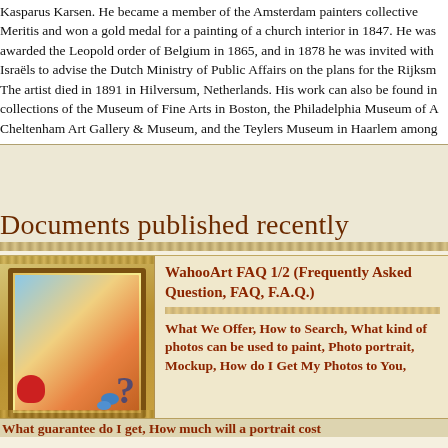Kasparus Karsen. He became a member of the Amsterdam painters collective Meritis and won a gold medal for a painting of a church interior in 1847. He was awarded the Leopold order of Belgium in 1865, and in 1878 he was invited with Israëls to advise the Dutch Ministry of Public Affairs on the plans for the Rijksm The artist died in 1891 in Hilversum, Netherlands. His work can also be found in collections of the Museum of Fine Arts in Boston, the Philadelphia Museum of A Cheltenham Art Gallery & Museum, and the Teylers Museum in Haarlem among
Documents published recently
[Figure (illustration): Decorative illustration showing an ornate golden picture frame with colorful fantasy/holiday imagery including question marks, Christmas elements, and artistic objects]
WahooArt FAQ 1/2 (Frequently Asked Question, FAQ, F.A.Q.)
What We Offer, How to Search, What kind of photos can be used to paint, Photo portrait, Mockup, How do I Get My Photos to You,
What guarantee do I get, How much will a portrait cost